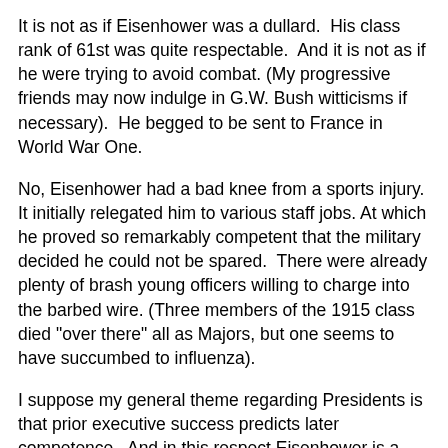It is not as if Eisenhower was a dullard.  His class rank of 61st was quite respectable.  And it is not as if he were trying to avoid combat. (My progressive friends may now indulge in G.W. Bush witticisms if necessary).  He begged to be sent to France in World War One.
No, Eisenhower had a bad knee from a sports injury.  It initially relegated him to various staff jobs. At which he proved so remarkably competent that the military decided he could not be spared.  There were already plenty of brash young officers willing to charge into the barbed wire. (Three members of the 1915 class died "over there" all as Majors, but one seems to have succumbed to influenza).
I suppose my general theme regarding Presidents is that prior executive success predicts later competence.  And in this respect Eisenhower is a prime exhibit.  Our history is the better for him not stepping in front of a bit of shrapnel in 1918.  He continued to demonstrate the ability to both organize the things under his direct purview and to interact well with those whose independent interests could either help or hinder his tasks.  D-Day in 1944, one of history's